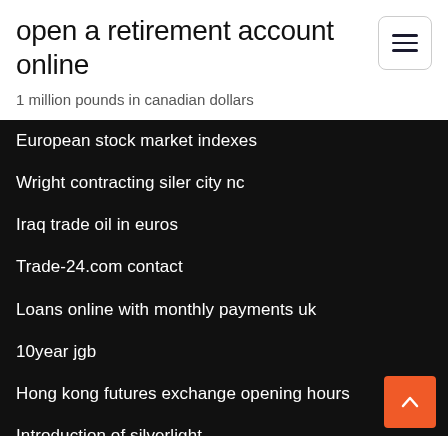open a retirement account online
1 million pounds in canadian dollars
European stock market indexes
Wright contracting siler city nc
Iraq trade oil in euros
Trade-24.com contact
Loans online with monthly payments uk
10year jgb
Hong kong futures exchange opening hours
Introduction of silverlight
Trade samsung s8
Open market currency rate in malaysia